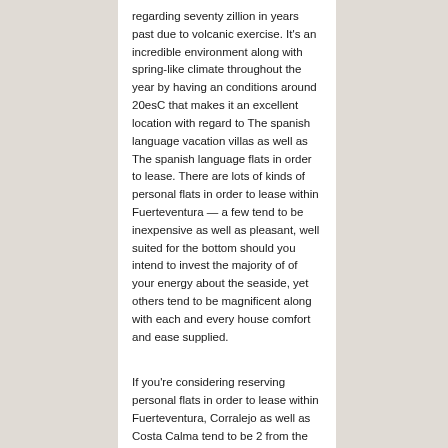regarding seventy zillion in years past due to volcanic exercise. It's an incredible environment along with spring-like climate throughout the year by having an conditions around 20esC that makes it an excellent location with regard to The spanish language vacation villas as well as The spanish language flats in order to lease. There are lots of kinds of personal flats in order to lease within Fuerteventura — a few tend to be inexpensive as well as pleasant, well suited for the bottom should you intend to invest the majority of of your energy about the seaside, yet others tend to be magnificent along with each and every house comfort and ease supplied.
If you're considering reserving personal flats in order to lease within Fuerteventura, Corralejo as well as Costa Calma tend to be 2 from the